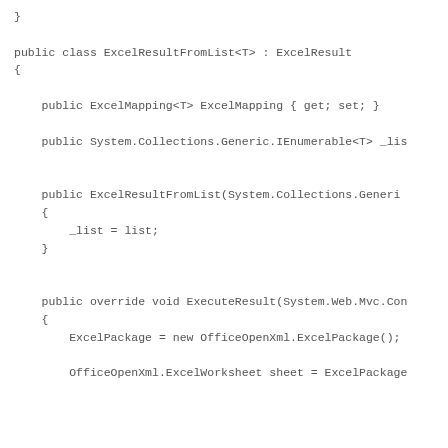}

public class ExcelResultFromList<T> : ExcelResult
{

    public ExcelMapping<T> ExcelMapping { get; set; }

    public System.Collections.Generic.IEnumerable<T> _lis


    public ExcelResultFromList(System.Collections.Generi
    {
        _list = list;
    }


    public override void ExecuteResult(System.Web.Mvc.Con
    {
        ExcelPackage = new OfficeOpenXml.ExcelPackage();

        OfficeOpenXml.ExcelWorksheet sheet = ExcelPackage




        int col = 0;
        foreach (ExportMetaData<T> emd in ExcelMapping.Ex
        {